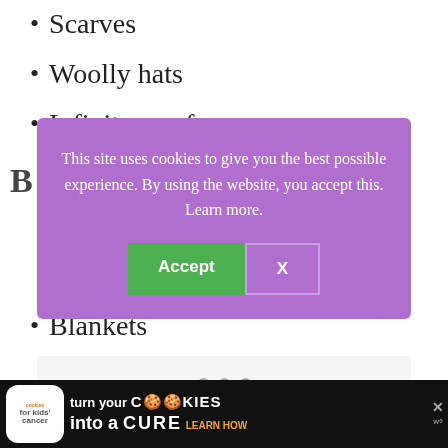Scarves
Woolly hats
Infinity scarf
[Figure (screenshot): Cookie consent modal with purple background. Text: 'This site uses cookies to give you the best possible experience. By using the website, you accept this. Learn more.' Two buttons: green 'Accept' and outlined 'X'.]
Blankets
[Figure (screenshot): Bottom advertisement banner for 'Cookies for Kids Cancer' — dark background with green cookie logo, text 'turn your COOKIES into a CURE LEARN HOW' and close/Weatherbug widgets.]